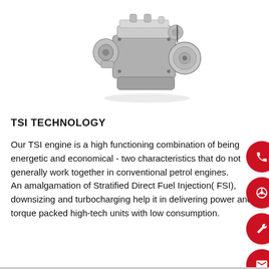[Figure (photo): A turbocharged petrol engine (TSI) shown from a 3/4 angle, silver and black metallic components, clean white background.]
TSI TECHNOLOGY
Our TSI engine is a high functioning combination of being energetic and economical - two characteristics that do not generally work together in conventional petrol engines.
An amalgamation of Stratified Direct Fuel Injection( FSI), downsizing and turbocharging help it in delivering power and torque packed high-tech units with low consumption.